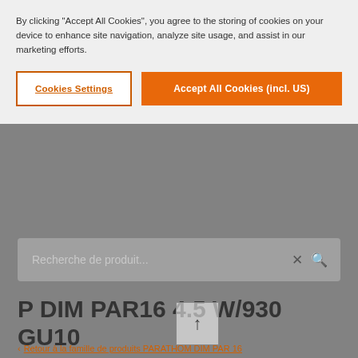By clicking "Accept All Cookies", you agree to the storing of cookies on your device to enhance site navigation, analyze site usage, and assist in our marketing efforts.
Cookies Settings
Accept All Cookies (incl. US)
[Figure (screenshot): Search bar with placeholder text 'Recherche de produit...' and X and magnifier icons on gray background]
P DIM PAR16 4.5 W/930 GU10
< Retour à la famille de produits PARATHOM DIM PAR 16